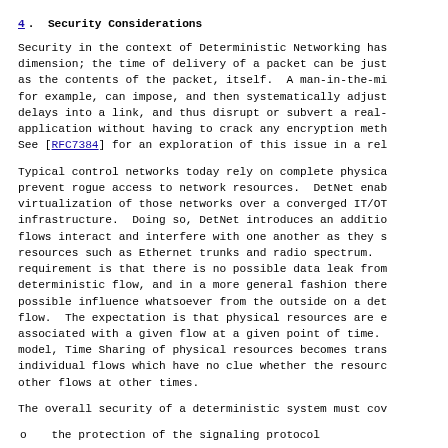4. Security Considerations
Security in the context of Deterministic Networking has dimension; the time of delivery of a packet can be just as the contents of the packet, itself.  A man-in-the-mi for example, can impose, and then systematically adjust delays into a link, and thus disrupt or subvert a real- application without having to crack any encryption meth See [RFC7384] for an exploration of this issue in a rel
Typical control networks today rely on complete physica prevent rogue access to network resources.  DetNet enab virtualization of those networks over a converged IT/OT infrastructure.  Doing so, DetNet introduces an additio flows interact and interfere with one another as they s resources such as Ethernet trunks and radio spectrum. requirement is that there is no possible data leak from deterministic flow, and in a more general fashion there possible influence whatsoever from the outside on a det flow.  The expectation is that physical resources are e associated with a given flow at a given point of time. model, Time Sharing of physical resources becomes trans individual flows which have no clue whether the resourc other flows at other times.
The overall security of a deterministic system must cov
o  the protection of the signaling protocol
o  the authentication and authorization of the control